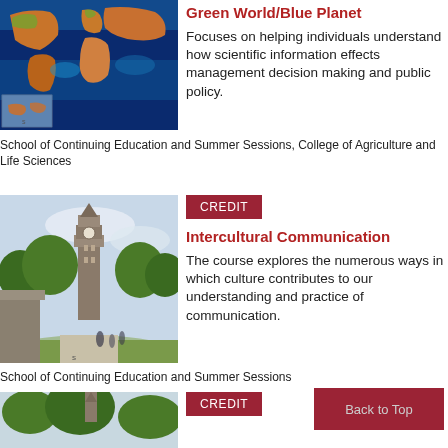[Figure (photo): Satellite map image of Earth showing ocean temperatures in blue/green, land in orange/brown tones, with a small inset map in the lower left corner.]
Green World/Blue Planet
Focuses on helping individuals understand how scientific information effects management decision making and public policy.
School of Continuing Education and Summer Sessions, College of Agriculture and Life Sciences
[Figure (photo): Photo of Cornell University campus with McGraw Tower (clock tower) visible through trees, with students walking on a path.]
CREDIT
Intercultural Communication
The course explores the numerous ways in which culture contributes to our understanding and practice of communication.
School of Continuing Education and Summer Sessions
[Figure (photo): Partial photo of Cornell University campus with trees in the foreground (cropped at bottom of page).]
CREDIT
Back to Top